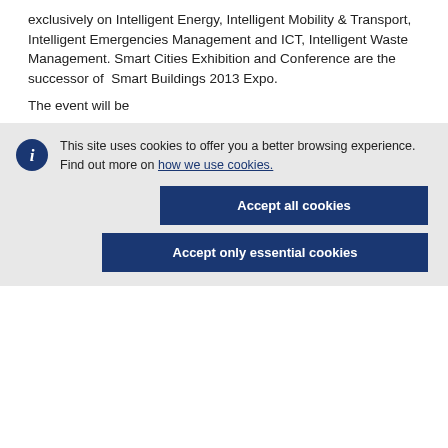exclusively on Intelligent Energy, Intelligent Mobility & Transport, Intelligent Emergencies Management and ICT, Intelligent Waste Management. Smart Cities Exhibition and Conference are the successor of  Smart Buildings 2013 Expo.
The event will be
This site uses cookies to offer you a better browsing experience. Find out more on how we use cookies.
[Figure (other): Cookie consent banner with Accept all cookies and Accept only essential cookies buttons]